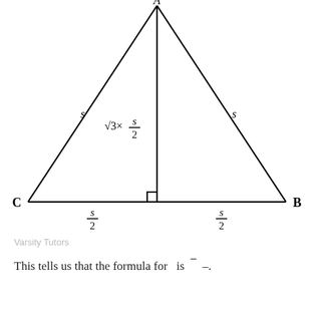[Figure (math-figure): Equilateral triangle with vertices A (top), C (bottom-left), B (bottom-right). A vertical altitude is drawn from A to the midpoint of CB, forming a right angle. The two sides AC and AB are each labeled 's'. The altitude is labeled 'sqrt(3) x s/2'. The left half of the base is labeled 's/2' and the right half is labeled 's/2'.]
Varsity Tutors
This tells us that the formula for   is  ̄  –.